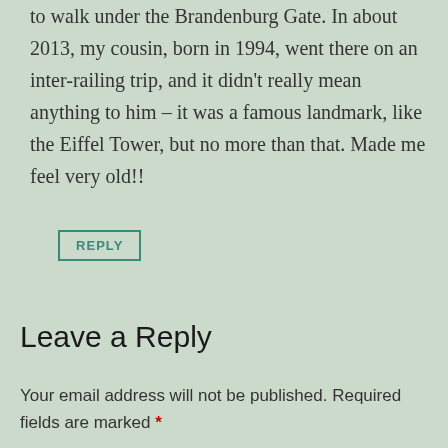to walk under the Brandenburg Gate. In about 2013, my cousin, born in 1994, went there on an inter-railing trip, and it didn't really mean anything to him – it was a famous landmark, like the Eiffel Tower, but no more than that. Made me feel very old!!
REPLY
Leave a Reply
Your email address will not be published. Required fields are marked *